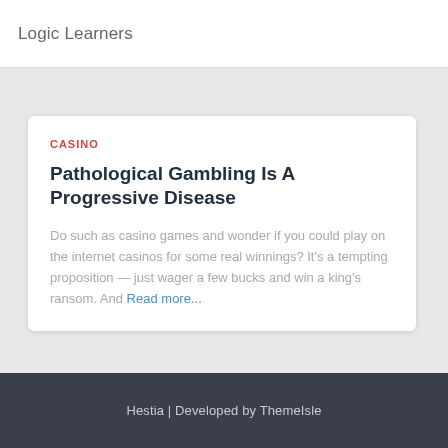Logic Learners
CASINO
Pathological Gambling Is A Progressive Disease
Do such as casino games and wonder if you could play on the internet casinos for some real winnings? It's a tempting proposition — just wager a few bucks and win a king's ransom. And Read more...
Hestia | Developed by ThemeIsle